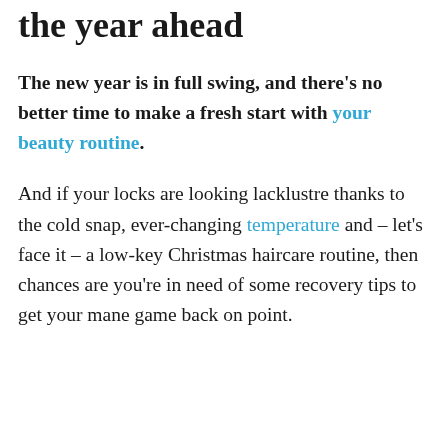the year ahead
The new year is in full swing, and there's no better time to make a fresh start with your beauty routine.
And if your locks are looking lacklustre thanks to the cold snap, ever-changing temperature and – let's face it – a low-key Christmas haircare routine, then chances are you're in need of some recovery tips to get your mane game back on point.